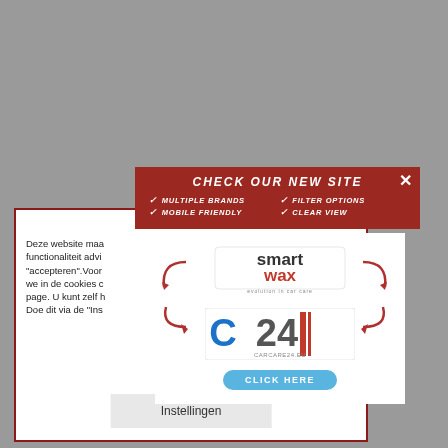[Figure (screenshot): Gray background representing a website screenshot]
[Figure (infographic): Red promotional banner with text CHECK OUR NEW SITE, listing MULTIPLE BRANDS, FILTER OPTIONS, MOBILE FRIENDLY, CLEAR VIEW with checkmarks, and X close button]
[Figure (infographic): White ad card showing SmartWax logo and C24 CarCare24.eu logo with CLICK HERE button and circular arrows]
CO

Deze website maa functionaliteit adv "accepteren".Voor we in de cookies c page. U kunt zelf h Doe dit via de "Ins
Instellingen